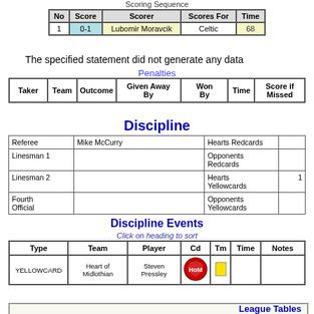Scoring Sequence
| No | Score | Scorer | Scores For | Time |
| --- | --- | --- | --- | --- |
| 1 | 0-1 | Lubomir Moravcik | Celtic | 68 |
The specified statement did not generate any data
Penalties
| Taker | Team | Outcome | Given Away By | Won By | Time | Score if Missed |
| --- | --- | --- | --- | --- | --- | --- |
Discipline
|  |  |  |  |
| --- | --- | --- | --- |
| Referee | Mike McCurry | Hearts Redcards |  |
| Linesman 1 |  | Opponents Redcards |  |
| Linesman 2 |  | Hearts Yellowcards | 1 |
| Fourth Official |  | Opponents Yellowcards |  |
Discipline Events
Click on heading to sort
| Type | Team | Player | Cd | Tm | Time | Notes |
| --- | --- | --- | --- | --- | --- | --- |
| YELLOWCARD | Heart of Midlothian | Steven Pressley | [badge] | [yellow card] |  |  |
League Tables
Before - Saturday 21 Apr 2001
After -